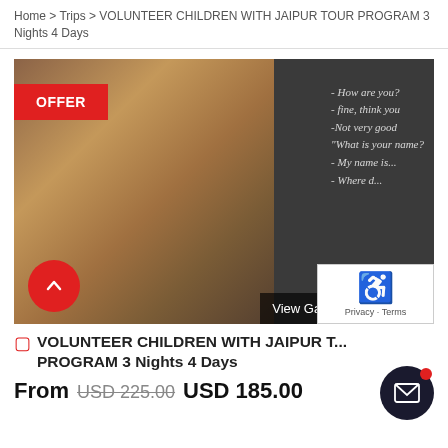Home > Trips > VOLUNTEER CHILDREN WITH JAIPUR TOUR PROGRAM 3 Nights 4 Days
[Figure (photo): Woman with long blonde hair writing on a chalkboard with English lesson phrases. An OFFER red badge is overlaid in top-left corner. A 'View Gal...' button appears at bottom right, and a scroll-up red circle button at bottom left. A reCAPTCHA widget is partially visible at bottom right corner.]
VOLUNTEER CHILDREN WITH JAIPUR TOUR PROGRAM 3 Nights 4 Days
From USD 225.00 USD 185.00